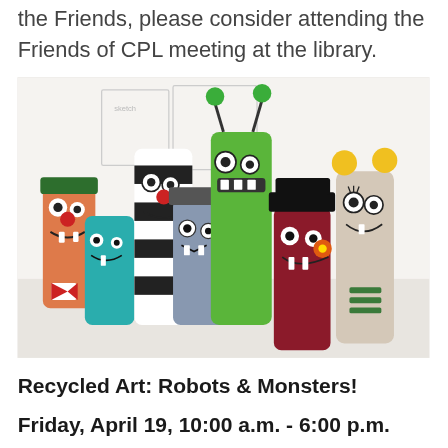the Friends, please consider attending the Friends of CPL meeting at the library.
[Figure (photo): Photo of colorful monster and robot figures made from painted toilet paper tubes/tin cans, arranged in a group on a white surface.]
Recycled Art: Robots & Monsters!
Friday, April 19, 10:00 a.m. - 6:00 p.m.
Get creative and make your own unique robot or monster out of a tin can or paper tube!
[Figure (photo): Partial photo of a small bat-shaped craft at the bottom of the page.]